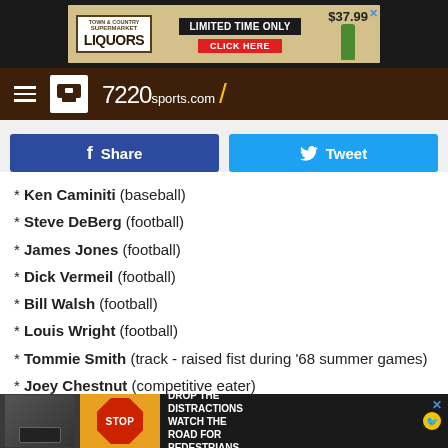[Figure (screenshot): Top advertisement banner for Supermarket Liquors with 'LIMITED TIME ONLY' text and $37.99 price on dark background]
[Figure (logo): 7220sports.com navigation bar with hamburger menu, logo icon, and site name on dark brown background]
[Figure (screenshot): Facebook Share button (dark blue) and Tweet button (light blue) side by side]
* Ken Caminiti (baseball)
* Steve DeBerg (football)
* James Jones (football)
* Dick Vermeil (football)
* Bill Walsh (football)
* Louis Wright (football)
* Tommie Smith (track - raised fist during '68 summer games)
* Joey Chestnut (competitive eater)
[Figure (screenshot): Bottom advertisement: DROP THE DISTRACTIONS WATCH THE ROAD FOR PEDESTRIANS with car interior and stop sign images]